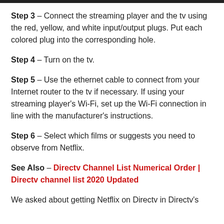Step 3 – Connect the streaming player and the tv using the red, yellow, and white input/output plugs. Put each colored plug into the corresponding hole.
Step 4 – Turn on the tv.
Step 5 – Use the ethernet cable to connect from your Internet router to the tv if necessary. If using your streaming player's Wi-Fi, set up the Wi-Fi connection in line with the manufacturer's instructions.
Step 6 – Select which films or suggests you need to observe from Netflix.
See Also – Directv Channel List Numerical Order | Directv channel list 2020 Updated
We asked about getting Netflix on Directv in Directv's